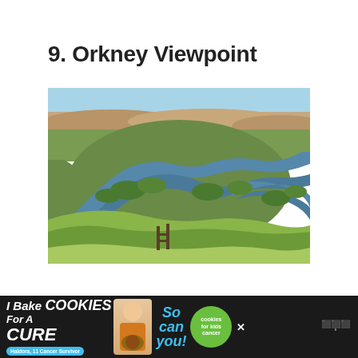9. Orkney Viewpoint
[Figure (photo): Aerial landscape photograph showing a winding river with lush green banks curving through a wide valley with rolling hills and badlands terrain in the background under a blue sky. A wooden fence post is visible in the foreground.]
[Figure (infographic): Advertisement banner: 'I Bake COOKIES For A CURE' with Haldora, 11 Cancer Survivor tag, a person holding cookies, 'So can you!' text, and cookies for kids cancer green logo badge. Dark background.]